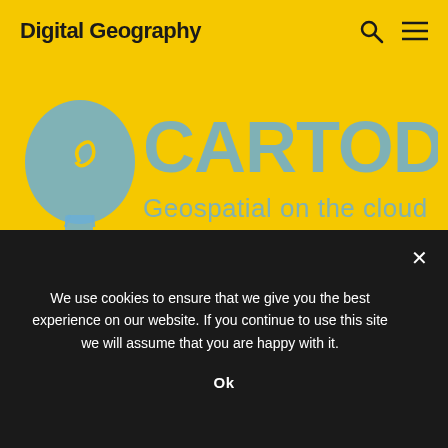Digital Geography
[Figure (logo): CartoDB logo: blue hot air balloon icon on left, blue text 'CARTODB' large on right, subtitle 'Geospatial on the cloud' below in blue, on yellow background]
short announcement: learn to map with cartoDB
Dear folks, most of you probably know how to map...
We use cookies to ensure that we give you the best experience on our website. If you continue to use this site we will assume that you are happy with it.
Ok